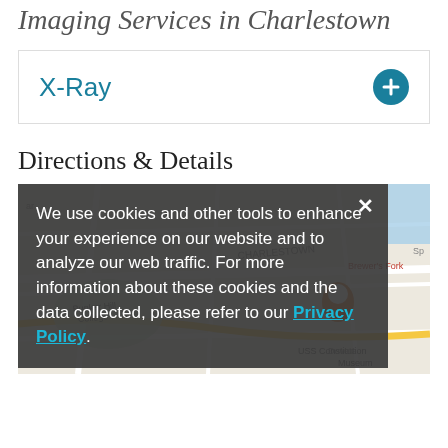Imaging Services in Charlestown
X-Ray
Directions & Details
[Figure (map): Street map of Charlestown area showing Bunker Hill College, USS Constitution Museum, Brewer's Fork, and surrounding streets.]
We use cookies and other tools to enhance your experience on our website and to analyze our web traffic. For more information about these cookies and the data collected, please refer to our Privacy Policy.